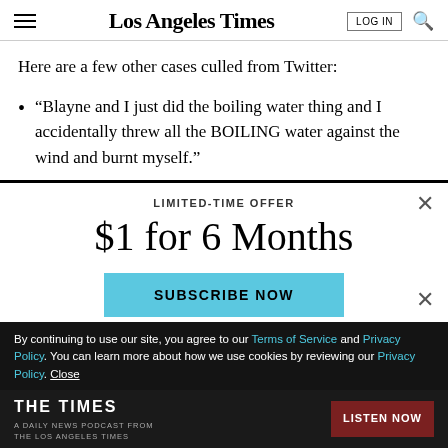Los Angeles Times
Here are a few other cases culled from Twitter:
“Blayne and I just did the boiling water thing and I accidentally threw all the BOILING water against the wind and burnt myself.”
LIMITED-TIME OFFER
$1 for 6 Months
SUBSCRIBE NOW
By continuing to use our site, you agree to our Terms of Service and Privacy Policy. You can learn more about how we use cookies by reviewing our Privacy Policy. Close